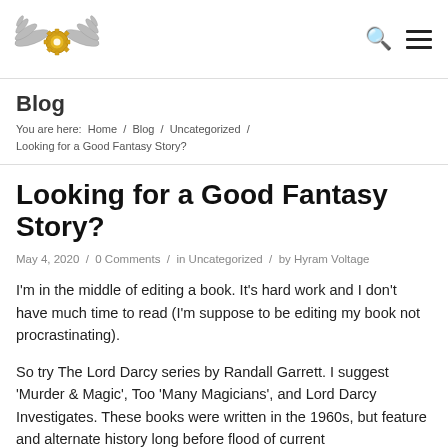[Figure (logo): Steampunk-style winged gear logo in silver and gold]
Blog / You are here: Home / Blog / Uncategorized / Looking for a Good Fantasy Story?
Looking for a Good Fantasy Story?
May 4, 2020 / 0 Comments / in Uncategorized / by Hyram Voltage
I'm in the middle of editing a book. It's hard work and I don't have much time to read (I'm suppose to be editing my book not procrastinating).
So try The Lord Darcy series by Randall Garrett. I suggest 'Murder & Magic', Too 'Many Magicians', and Lord Darcy Investigates. These books were written in the 1960s, but feature and alternate history long before flood of current